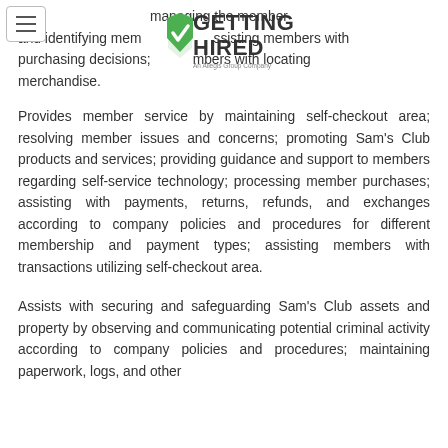[Figure (logo): Getting Hired logo - An Allegis Group Company]
reviewing member to … managing the member and identifying member … assisting members with purchasing decisions; … members with locating merchandise.
Provides member service by maintaining self-checkout area; resolving member issues and concerns; promoting Sam's Club products and services; providing guidance and support to members regarding self-service technology; processing member purchases; assisting with payments, returns, refunds, and exchanges according to company policies and procedures for different membership and payment types; assisting members with transactions utilizing self-checkout area.
Assists with securing and safeguarding Sam's Club assets and property by observing and communicating potential criminal activity according to company policies and procedures; maintaining paperwork, logs, and other